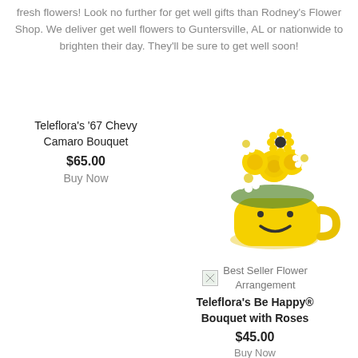fresh flowers! Look no further for get well gifts than Rodney's Flower Shop. We deliver get well flowers to Guntersville, AL or nationwide to brighten their day. They'll be sure to get well soon!
Teleflora's '67 Chevy Camaro Bouquet
$65.00
Buy Now
[Figure (photo): Yellow flower bouquet in a smiley face mug with yellow roses and white daisies]
[Figure (illustration): Best Seller badge icon]
Best Seller Flower Arrangement
Teleflora's Be Happy® Bouquet with Roses
$45.00
Buy Now